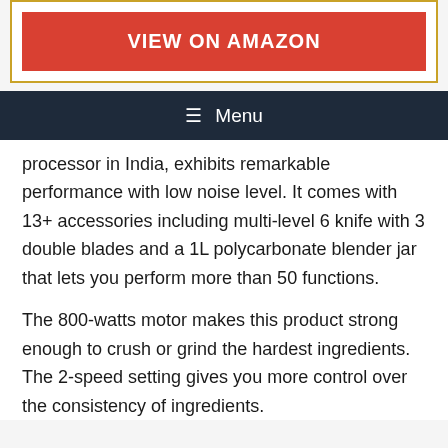[Figure (other): Red button with text VIEW ON AMAZON inside a gold-bordered white box]
☰ Menu
processor in India, exhibits remarkable performance with low noise level. It comes with 13+ accessories including multi-level 6 knife with 3 double blades and a 1L polycarbonate blender jar that lets you perform more than 50 functions.
The 800-watts motor makes this product strong enough to crush or grind the hardest ingredients. The 2-speed setting gives you more control over the consistency of ingredients.